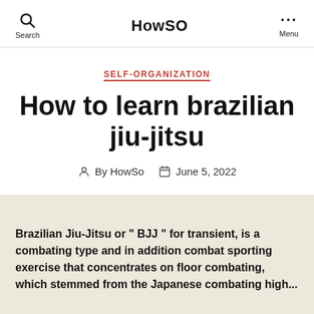HowSO
SELF-ORGANIZATION
How to learn brazilian jiu-jitsu
By HowSo   June 5, 2022
Brazilian Jiu-Jitsu or “ BJJ ” for transient, is a combating type and in addition combat sporting exercise that concentrates on floor combating, which stemmed from the Japanese combating high...